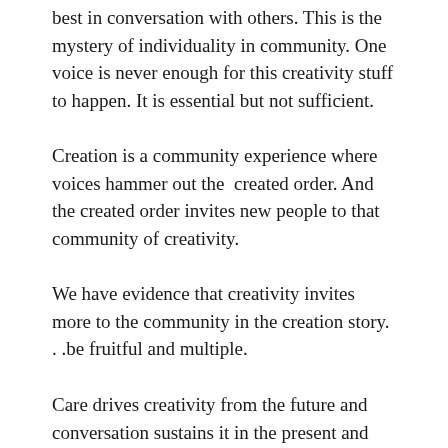best in conversation with others. This is the mystery of individuality in community. One voice is never enough for this creativity stuff to happen. It is essential but not sufficient.
Creation is a community experience where voices hammer out the  created order. And the created order invites new people to that community of creativity.
We have evidence that creativity invites more to the community in the creation story. . .be fruitful and multiple.
Care drives creativity from the future and conversation sustains it in the present and community anchors from the past.
That is the story operating within Christianity's view of Creation. That the three–Father, Son and Holy Spirit– in